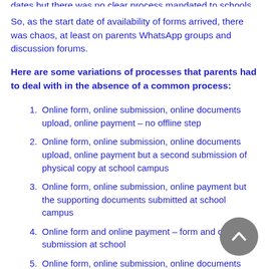dates but there was no clear process mandated to schools.
So, as the start date of availability of forms arrived, there was chaos, at least on parents WhatsApp groups and discussion forums.
Here are some variations of processes that parents had to deal with in the absence of a common process:
Online form, online submission, online documents upload, online payment – no offline step
Online form, online submission, online documents upload, online payment but a second submission of physical copy at school campus
Online form, online submission, online payment but the supporting documents submitted at school campus
Online form and online payment – form and document submission at school
Online form, online submission, online documents upload, but payment left of Rs 25...